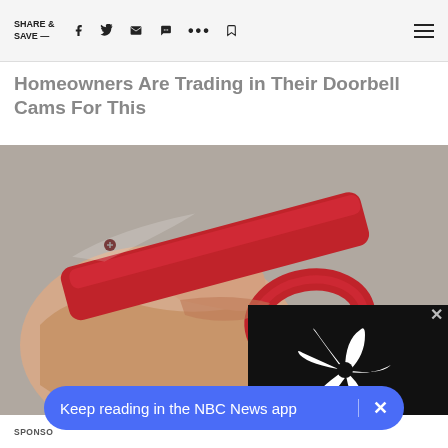SHARE & SAVE —  [social icons: Facebook, Twitter, Email, Message, More, Bookmark, Menu]
Homeowners Are Trading in Their Doorbell Cams For This
[Figure (photo): A hand holding a red anodized aluminum device (appears to be a self-defense tool or similar gadget). NBC News peacock logo overlay visible in bottom-right corner with an X close button.]
SPONSORED
Here
Keep reading in the NBC News app